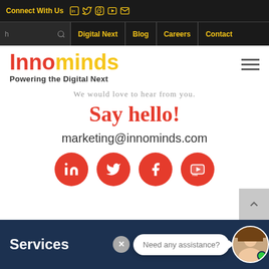Connect With Us [LinkedIn] [Twitter] [Facebook] [YouTube] [Email]
Digital Next | Blog | Careers | Contact
Innominds Powering the Digital Next
We would love to hear from you.
Say hello!
marketing@innominds.com
[Figure (illustration): Four red circular social media icon buttons: LinkedIn, Twitter, Facebook, YouTube]
Services
Need any assistance?